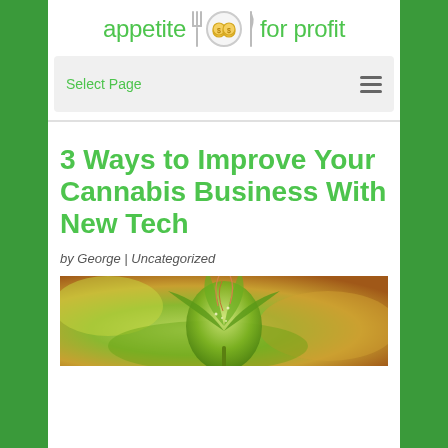appetite for profit
Select Page
3 Ways to Improve Your Cannabis Business With New Tech
by George | Uncategorized
[Figure (photo): Close-up photo of a cannabis plant with green buds and leaves, blurred background]